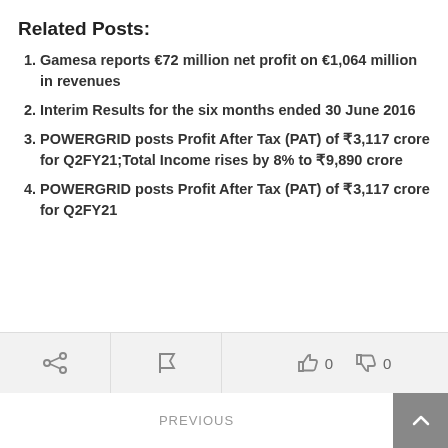Related Posts:
Gamesa reports €72 million net profit on €1,064 million in revenues
Interim Results for the six months ended 30 June 2016
POWERGRID posts Profit After Tax (PAT) of ₹3,117 crore for Q2FY21;Total Income rises by 8% to ₹9,890 crore
POWERGRID posts Profit After Tax (PAT) of ₹3,117 crore for Q2FY21
PREVIOUS